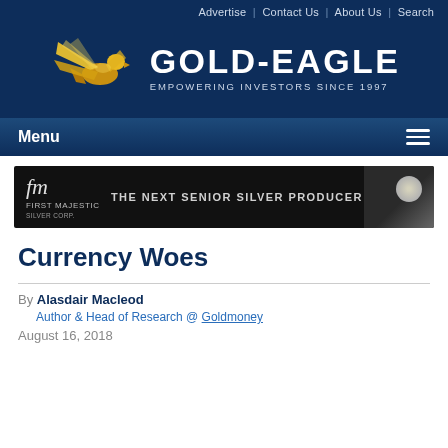Advertise | Contact Us | About Us | Search
[Figure (logo): Gold-Eagle logo with golden eagle and text 'GOLD-EAGLE EMPOWERING INVESTORS SINCE 1997' on dark blue background]
Menu
[Figure (photo): First Majestic Silver Corp advertisement banner: 'THE NEXT SENIOR SILVER PRODUCER']
Currency Woes
By Alasdair Macleod
Author & Head of Research @ Goldmoney
August 16, 2018